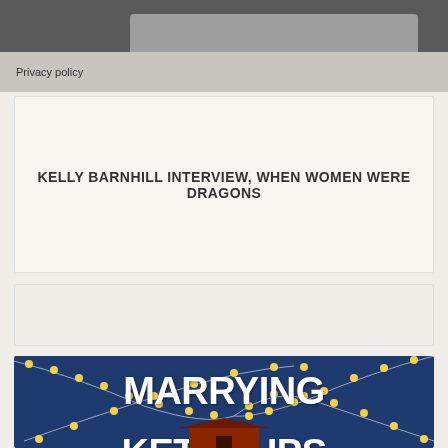[Figure (screenshot): Dark gray top navigation bar with lighter gray tab element]
Privacy policy
KELLY BARNHILL INTERVIEW, WHEN WOMEN WERE DRAGONS
[Figure (other): Empty beige card/content block]
[Figure (illustration): Book cover for 'Marrying the Ketchups: A Novel' by Jennifer. Dark blue background with string lights and large white bold text.]